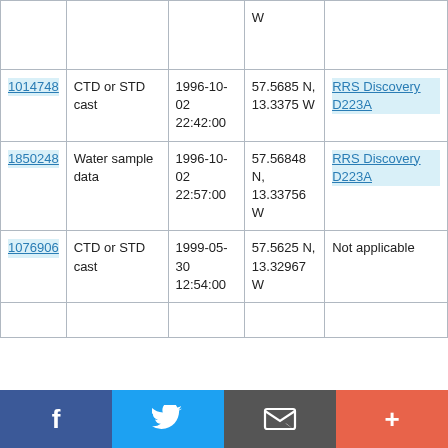| ID | Type | Date/Time | Location | Vessel |
| --- | --- | --- | --- | --- |
|  |  |  | W |  |
| 1014748 | CTD or STD cast | 1996-10-02 22:42:00 | 57.5685 N, 13.3375 W | RRS Discovery D223A |
| 1850248 | Water sample data | 1996-10-02 22:57:00 | 57.56848 N, 13.33756 W | RRS Discovery D223A |
| 1076906 | CTD or STD cast | 1999-05-30 12:54:00 | 57.5625 N, 13.32967 W | Not applicable |